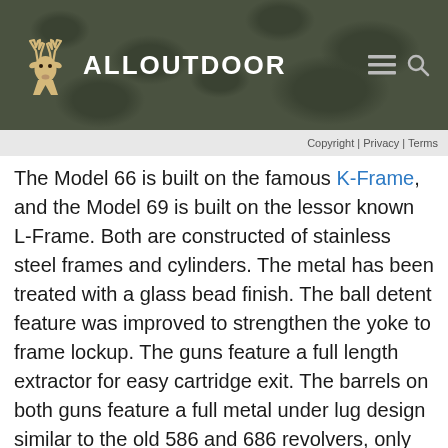ALLOUTDOOR
Copyright | Privacy | Terms
The Model 66 is built on the famous K-Frame, and the Model 69 is built on the lessor known L-Frame. Both are constructed of stainless steel frames and cylinders. The metal has been treated with a glass bead finish. The ball detent feature was improved to strengthen the yoke to frame lockup. The guns feature a full length extractor for easy cartridge exit. The barrels on both guns feature a full metal under lug design similar to the old 586 and 686 revolvers, only the front is angled down.
Sights include a red ramp front sight with an adjustable white outline rear sight. The grips are soft synthetic for a solid hold and comfortable grip with the magnum loads. The top barrel straps are fully serrated. While the Model 66 .357 has a 6-shot cylinder, the Model 69 in .44 Magnum's cylinder holds five rounds.